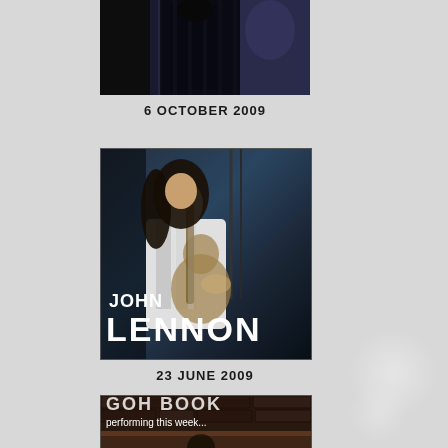[Figure (photo): Top portion of a music/concert photo showing a performer, partially cropped]
6 OCTOBER 2009
[Figure (photo): Photo of John Lennon playing guitar, wearing a white jacket, with 'JOHN LENNON' text overlaid at the bottom]
23 JUNE 2009
[Figure (photo): Partial photo of a musician with text 'performing this week...' visible at the top, appearing to be from a concert or show listing]